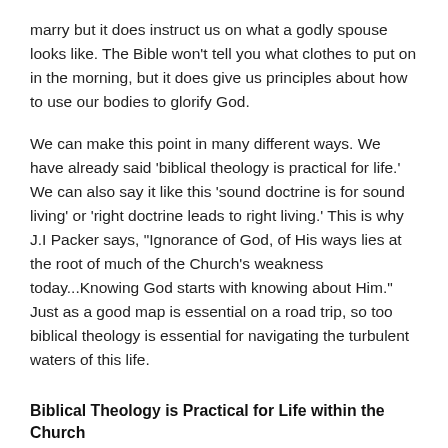marry but it does instruct us on what a godly spouse looks like. The Bible won't tell you what clothes to put on in the morning, but it does give us principles about how to use our bodies to glorify God.
We can make this point in many different ways. We have already said 'biblical theology is practical for life.' We can also say it like this 'sound doctrine is for sound living' or 'right doctrine leads to right living.' This is why J.I Packer says, "Ignorance of God, of His ways lies at the root of much of the Church's weakness today...Knowing God starts with knowing about Him." Just as a good map is essential on a road trip, so too biblical theology is essential for navigating the turbulent waters of this life.
Biblical Theology is Practical for Life within the Church
When we take a step back from books in the Bible to look at the whole book, we often see things that stand out. The book of Romans makes this especially clear. In Romans, the first 11